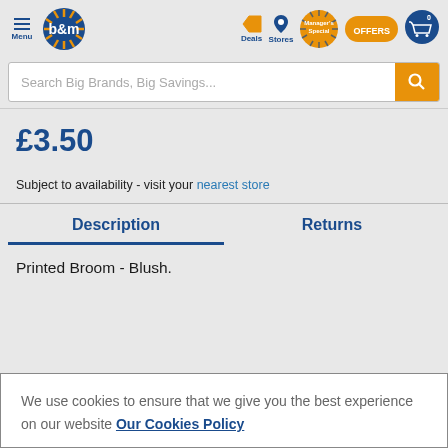B&M store website header with Menu, logo, Deals, Stores, Manager's Special, OFFERS, and cart icons
Search Big Brands, Big Savings...
£3.50
Subject to availability - visit your nearest store
Description | Returns
Printed Broom - Blush.
We use cookies to ensure that we give you the best experience on our website Our Cookies Policy